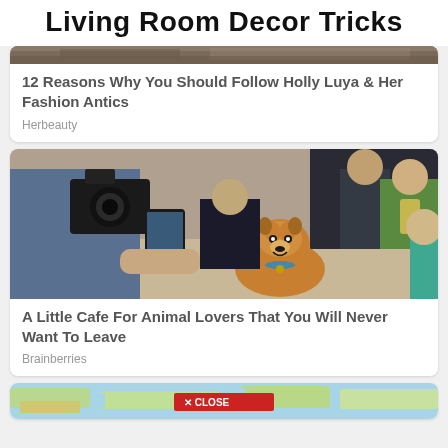Living Room Decor Tricks
[Figure (photo): Partial photo strip at top of first card showing outdoor scene]
12 Reasons Why You Should Follow Holly Luya & Her Fashion Antics
Herbeauty
[Figure (photo): Photo of a corgi dog being petted at a cafe, with people holding cameras and phones in the background]
A Little Cafe For Animal Lovers That You Will Never Want To Leave
Brainberries
[Figure (map): Partial map image with a close button overlay]